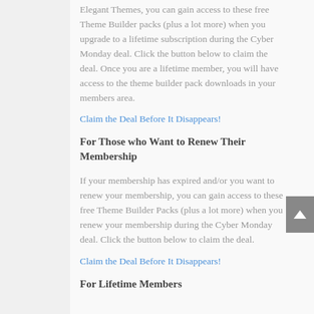Elegant Themes, you can gain access to these free Theme Builder packs (plus a lot more) when you upgrade to a lifetime subscription during the Cyber Monday deal. Click the button below to claim the deal. Once you are a lifetime member, you will have access to the theme builder pack downloads in your members area.
Claim the Deal Before It Disappears!
For Those who Want to Renew Their Membership
If your membership has expired and/or you want to renew your membership, you can gain access to these free Theme Builder Packs (plus a lot more) when you renew your membership during the Cyber Monday deal. Click the button below to claim the deal.
Claim the Deal Before It Disappears!
For Lifetime Members